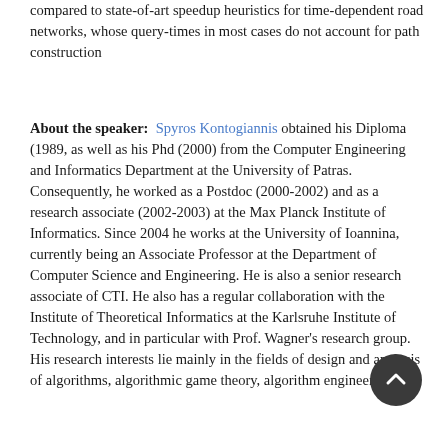compared to state-of-art speedup heuristics for time-dependent road networks, whose query-times in most cases do not account for path construction
About the speaker: Spyros Kontogiannis obtained his Diploma (1989, as well as his Phd (2000) from the Computer Engineering and Informatics Department at the University of Patras. Consequently, he worked as a Postdoc (2000-2002) and as a research associate (2002-2003) at the Max Planck Institute of Informatics. Since 2004 he works at the University of Ioannina, currently being an Associate Professor at the Department of Computer Science and Engineering. He is also a senior research associate of CTI. He also has a regular collaboration with the Institute of Theoretical Informatics at the Karlsruhe Institute of Technology, and in particular with Prof. Wagner's research group. His research interests lie mainly in the fields of design and analysis of algorithms, algorithmic game theory, algorithm engineering,